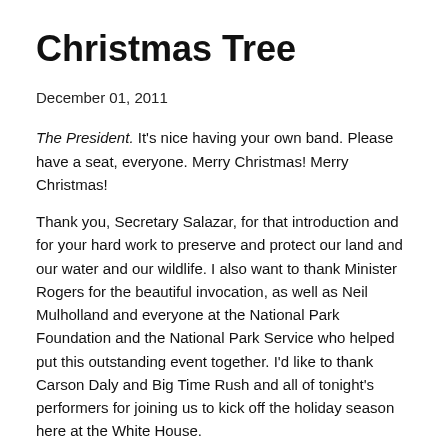Christmas Tree
December 01, 2011
The President. It's nice having your own band. Please have a seat, everyone. Merry Christmas! Merry Christmas!
Thank you, Secretary Salazar, for that introduction and for your hard work to preserve and protect our land and our water and our wildlife. I also want to thank Minister Rogers for the beautiful invocation, as well as Neil Mulholland and everyone at the National Park Foundation and the National Park Service who helped put this outstanding event together. I'd like to thank Carson Daly and Big Time Rush and all of tonight's performers for joining us to kick off the holiday season here at the White House.
For 89 years, Presidents and Americans have come together to light the National Christmas Tree. And this year is a special one. This year, we have a brand new tree. The last one stood here for more than 30 years, until we lost it in a storm earlier